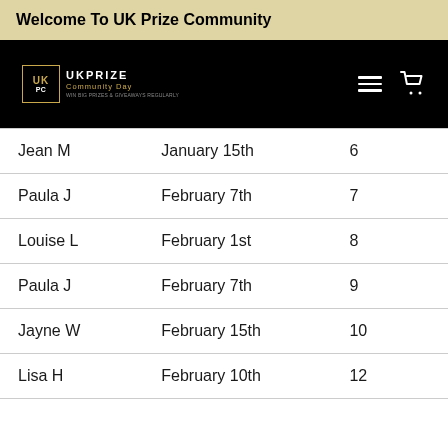Welcome To UK Prize Community
[Figure (screenshot): Black navigation bar with UK Prize Community logo on the left, hamburger menu icon and shopping cart icon on the right]
| Jean M | January 15th | 6 |
| Paula J | February 7th | 7 |
| Louise L | February 1st | 8 |
| Paula J | February 7th | 9 |
| Jayne W | February 15th | 10 |
| Lisa H | February 10th | 12 |